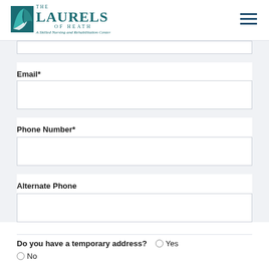The Laurels of Heath — A Skilled Nursing and Rehabilitation Center
Email*
Phone Number*
Alternate Phone
Do you have a temporary address?  ○ Yes  ○ No